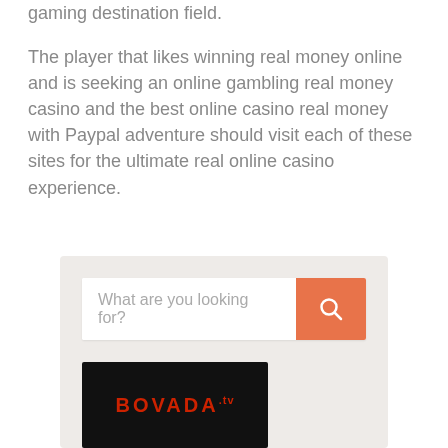gaming destination field.
The player that likes winning real money online and is seeking an online gambling real money casino and the best online casino real money with Paypal adventure should visit each of these sites for the ultimate real online casino experience.
[Figure (screenshot): Search bar widget with light gray background, white input field showing placeholder text 'What are you looking for?' and an orange search button with magnifying glass icon. Below it is a Bovada.tv logo on a black card background.]